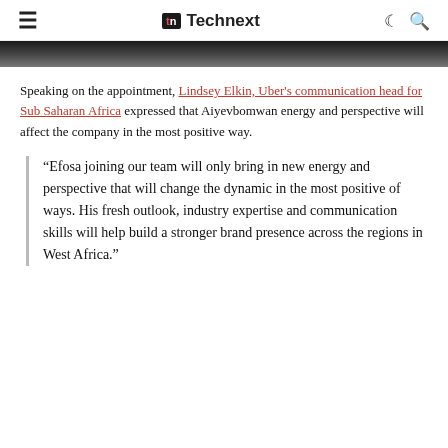Technext
[Figure (photo): Partial photograph strip showing faces, cropped at the top of the content area]
Speaking on the appointment, Lindsey Elkin, Uber's communication head for Sub Saharan Africa expressed that Aiyevbomwan energy and perspective will affect the company in the most positive way.
“Efosa joining our team will only bring in new energy and perspective that will change the dynamic in the most positive of ways. His fresh outlook, industry expertise and communication skills will help build a stronger brand presence across the regions in West Africa."